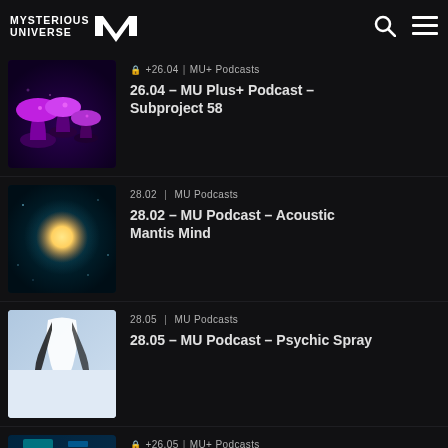MYSTERIOUS UNIVERSE | MU logo
🔒 +26.04 | MU+ Podcasts
26.04 – MU Plus+ Podcast – Subproject 58
28.02 | MU Podcasts
28.02 – MU Podcast – Acoustic Mantis Mind
28.05 | MU Podcasts
28.05 – MU Podcast – Psychic Spray
🔒 +26.05 | MU+ Podcasts
26.05 – MU Plus Podcast – The Hidden Directorate